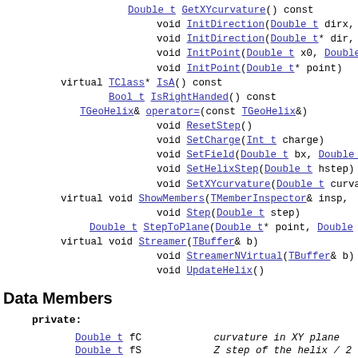Double t GetXYcurvature() const
            void InitDirection(Double t dirx, Double...
            void InitDirection(Double t* dir, Bool t...
            void InitPoint(Double t x0, Double t y0,...
            void InitPoint(Double t* point)
   virtual TClass* IsA() const
           Bool t IsRightHanded() const
       TGeoHelix& operator=(const TGeoHelix&)
            void ResetStep()
            void SetCharge(Int t charge)
            void SetField(Double t bx, Double t by,...
            void SetHelixStep(Double t hstep)
            void SetXYcurvature(Double t curvature)
   virtual void ShowMembers(TMemberInspector& insp,...
            void Step(Double t step)
       Double t StepToPlane(Double t* point, Double...
   virtual void Streamer(TBuffer& b)
            void StreamerNVirtual(TBuffer& b)
            void UpdateHelix()
Data Members
private:
| Type | Name | Description |
| --- | --- | --- |
| Double t | fC | curvature in XY plane |
| Double t | fS | Z step of the helix / ... |
| Double t | fStep | current step |
| Double t | fPhi | phi angle |
| Double t | fPointInit[3] | initial point |